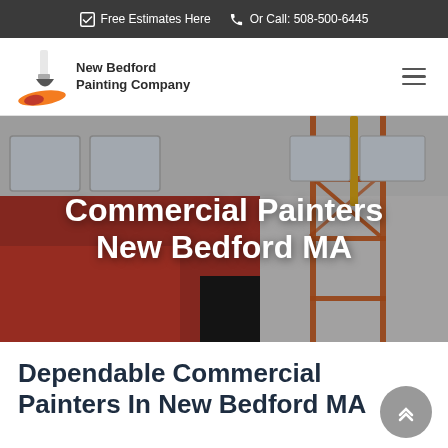Free Estimates Here  Or Call: 508-500-6445
[Figure (logo): New Bedford Painting Company logo with paint brush icon and orange/red brush stroke]
[Figure (photo): Commercial building exterior being painted red with scaffolding]
Commercial Painters New Bedford MA
Dependable Commercial Painters In New Bedford MA